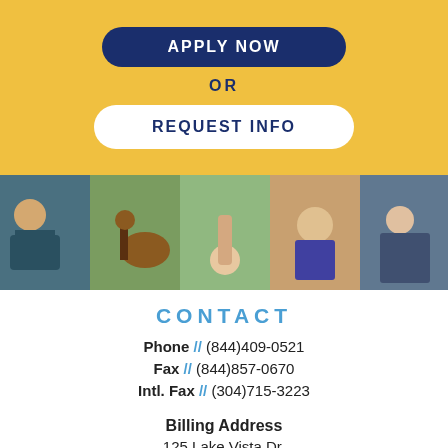[Figure (illustration): Dark blue rounded rectangle button (Apply Now) on gold background]
OR
[Figure (illustration): White rounded rectangle button with text REQUEST INFO on gold background]
[Figure (photo): Strip of five photos: student studying with headphones, equestrian jumping horse, person taking photo looking up, graduate in cap and gown smiling, cyclist on mountain bike]
CONTACT
Phone // (844)409-0521
Fax // (844)857-0670
Intl. Fax // (304)715-3223
Billing Address
125 Lake Vista Dr.
Charles...